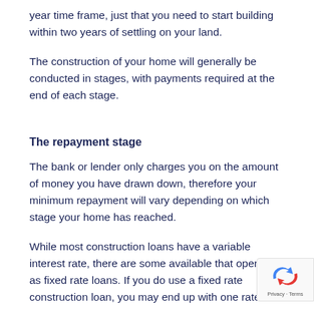year time frame, just that you need to start building within two years of settling on your land.
The construction of your home will generally be conducted in stages, with payments required at the end of each stage.
The repayment stage
The bank or lender only charges you on the amount of money you have drawn down, therefore your minimum repayment will vary depending on which stage your home has reached.
While most construction loans have a variable interest rate, there are some available that opera... as fixed rate loans. If you do use a fixed rate construction loan, you may end up with one rate on...